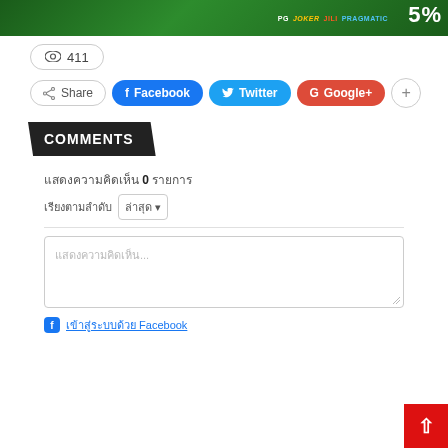[Figure (screenshot): Green casino banner with athletes wearing number 27, showing logos: PG, JOKER, JILI, PRAGMATIC and percentage text on right]
411 (view count)
Share | Facebook | Twitter | Google+ | +
COMMENTS
แสดงความคิดเห็น 0 รายการ
เรียงตามลำดับ ล่าสุด (dropdown)
แสดงความคิดเห็น...
เข้าสู่ระบบด้วย Facebook